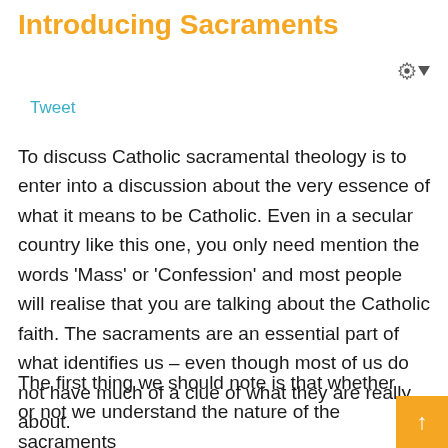Introducing Sacraments
Tweet
To discuss Catholic sacramental theology is to enter into a discussion about the very essence of what it means to be Catholic. Even in a secular country like this one, you only need mention the words ‘Mass’ or ‘Confession’ and most people will realise that you are talking about the Catholic faith. The sacraments are an essential part of what identifies us – even though most of us do not have much of a clue of what they are really about.
The first thing we should note is that whether or not we understand the nature of the sacraments